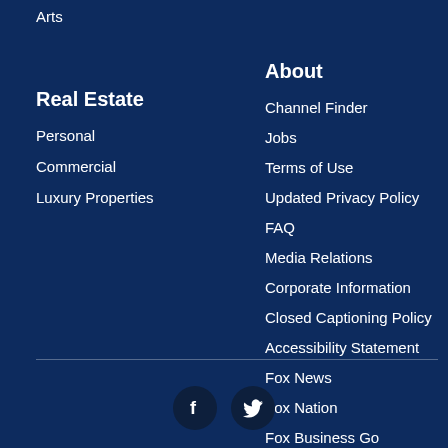Arts
Real Estate
Personal
Commercial
Luxury Properties
About
Channel Finder
Jobs
Terms of Use
Updated Privacy Policy
FAQ
Media Relations
Corporate Information
Closed Captioning Policy
Accessibility Statement
Fox News
Fox Nation
Fox Business Go
Apps & Products
[Figure (illustration): Social media icons: Facebook and Twitter]